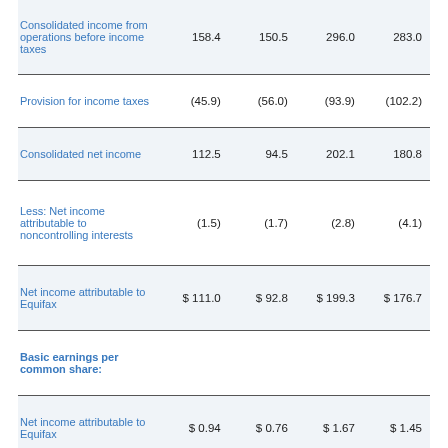|  | Col1 | Col2 | Col3 | Col4 |
| --- | --- | --- | --- | --- |
| Consolidated income from operations before income taxes | 158.4 | 150.5 | 296.0 | 283.0 |
| Provision for income taxes | (45.9) | (56.0) | (93.9) | (102.2) |
| Consolidated net income | 112.5 | 94.5 | 202.1 | 180.8 |
| Less: Net income attributable to noncontrolling interests | (1.5) | (1.7) | (2.8) | (4.1) |
| Net income attributable to Equifax | $ 111.0 | $ 92.8 | $ 199.3 | $ 176.7 |
| Basic earnings per common share: |  |  |  |  |
| Net income attributable to Equifax | $ 0.94 | $ 0.76 | $ 1.67 | $ 1.45 |